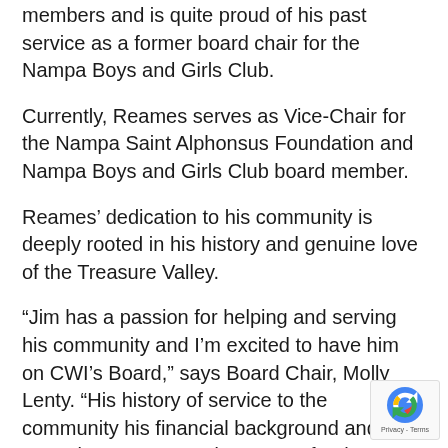members and is quite proud of his past service as a former board chair for the Nampa Boys and Girls Club.
Currently, Reames serves as Vice-Chair for the Nampa Saint Alphonsus Foundation and Nampa Boys and Girls Club board member.
Reames' dedication to his community is deeply rooted in his history and genuine love of the Treasure Valley.
“Jim has a passion for helping and serving his community and I’m excited to have him on CWI’s Board,” says Board Chair, Molly Lenty. “His history of service to the community his financial background and expertise w a tremendous asset for the College as we